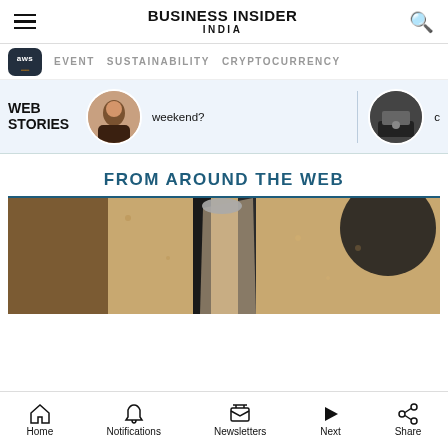BUSINESS INSIDER INDIA
EVENT   SUSTAINABILITY   CRYPTOCURRENCY
WEB STORIES — weekend?
FROM AROUND THE WEB
[Figure (photo): Outdoor wall-mounted lantern light fixture on a textured stone/stucco wall]
Home   Notifications   Newsletters   Next   Share